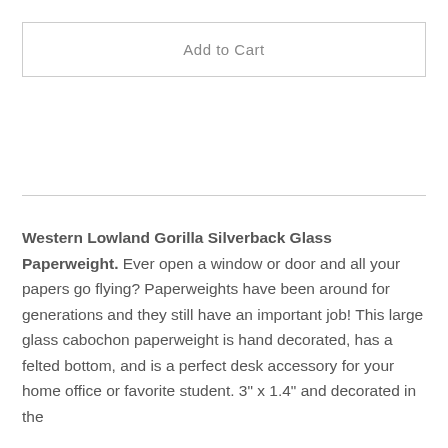Add to Cart
Western Lowland Gorilla Silverback Glass Paperweight. Ever open a window or door and all your papers go flying? Paperweights have been around for generations and they still have an important job! This large glass cabochon paperweight is hand decorated, has a felted bottom, and is a perfect desk accessory for your home office or favorite student. 3" x 1.4" and decorated in the